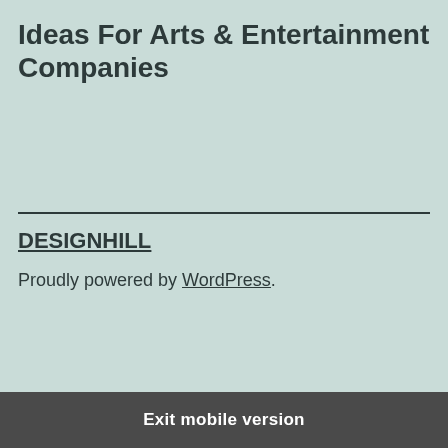Ideas For Arts & Entertainment Companies
DESIGNHILL
Proudly powered by WordPress.
Exit mobile version